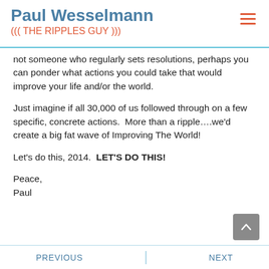Paul Wesselmann
((( THE RIPPLES GUY )))
not someone who regularly sets resolutions, perhaps you can ponder what actions you could take that would improve your life and/or the world.
Just imagine if all 30,000 of us followed through on a few specific, concrete actions.  More than a ripple….we'd create a big fat wave of Improving The World!
Let's do this, 2014.  LET'S DO THIS!
Peace,
Paul
PREVIOUS    NEXT